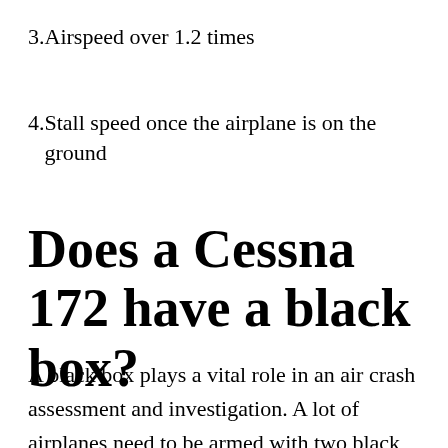3. Airspeed over 1.2 times
4. Stall speed once the airplane is on the ground
Does a Cessna 172 have a black box?
A black box plays a vital role in an air crash assessment and investigation. A lot of airplanes need to be armed with two black boxes, the CVR or cockpit voice recorder,